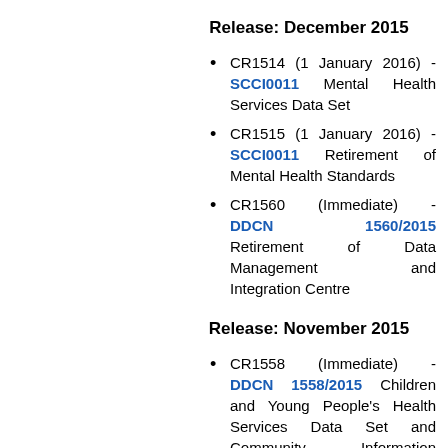Release: December 2015
CR1514 (1 January 2016) - SCCI0011 Mental Health Services Data Set
CR1515 (1 January 2016) - SCCI0011 Retirement of Mental Health Standards
CR1560 (Immediate) - DDCN 1560/2015 Retirement of Data Management and Integration Centre
Release: November 2015
CR1558 (Immediate) - DDCN 1558/2015 Children and Young People's Health Services Data Set and Community Information Data Set harmonisation